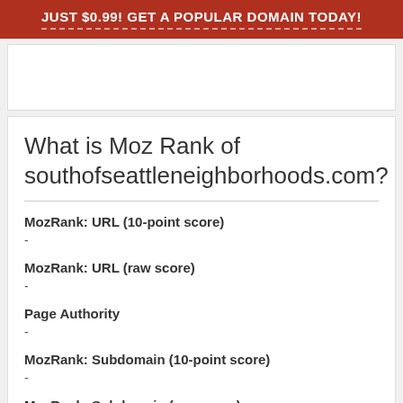JUST $0.99! GET A POPULAR DOMAIN TODAY!
What is Moz Rank of southofseattleneighborhoods.com?
MozRank: URL (10-point score)
-
MozRank: URL (raw score)
-
Page Authority
-
MozRank: Subdomain (10-point score)
-
MozRank: Subdomain (raw score)
-